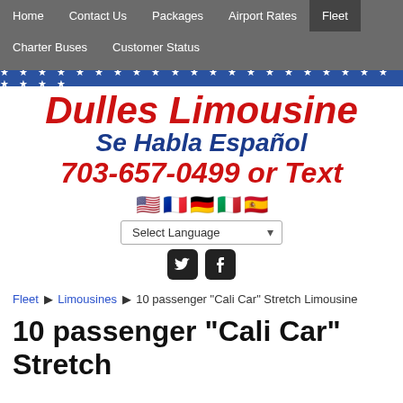Home  Contact Us  Packages  Airport Rates  Fleet  Charter Buses  Customer Status
[Figure (illustration): Blue and white stars banner stripe across the full width]
Dulles Limousine
Se Habla Español
703-657-0499 or Text
[Figure (illustration): Five country flag emoji icons: USA, France, Germany, Italy, Spain]
[Figure (screenshot): Select Language dropdown widget]
[Figure (illustration): Twitter and Facebook social media icons]
Fleet ▶ Limousines ▶ 10 passenger "Cali Car" Stretch Limousine
10 passenger "Cali Car" Stretch